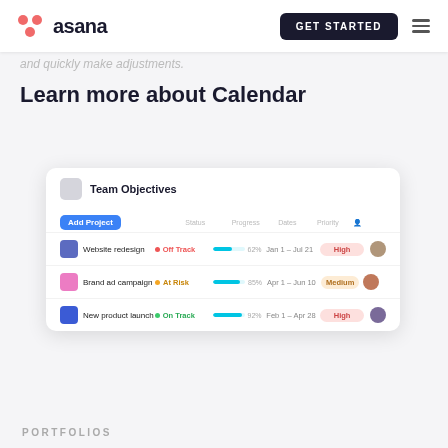asana | Get Started
and quickly make adjustments.
Learn more about Calendar
[Figure (screenshot): Asana Team Objectives project list screenshot showing three projects: Website redesign (Off Track, 62%, Jan 1 – Jul 21, High), Brand ad campaign (At Risk, 85%, Apr 1 – Jun 10, Medium), New product launch (On Track, 92%, Feb 1 – Apr 28, High)]
PORTFOLIOS